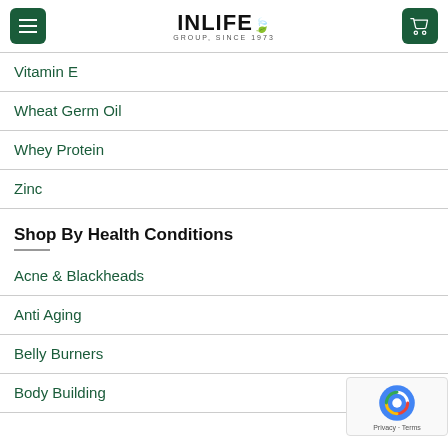INLIFE GROUP, SINCE 1973
Vitamin E
Wheat Germ Oil
Whey Protein
Zinc
Shop By Health Conditions
Acne & Blackheads
Anti Aging
Belly Burners
Body Building